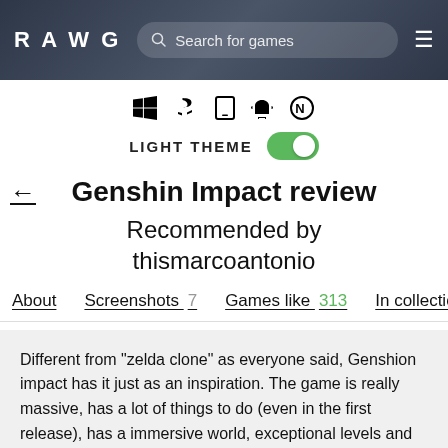RAWG | Search for games
[Figure (screenshot): Platform icons: Windows, PlayStation, mobile, Android, Nintendo]
LIGHT THEME (toggle on)
Genshin Impact review
Recommended by thismarcoantonio
About
Screenshots 7
Games like 313
In collections 10
Different from "zelda clone" as everyone said, Genshion impact has it just as an inspiration. The game is really massive, has a lot of things to do (even in the first release), has a immersive world, exceptional levels and good main story line. The playable characters are really great and this makes you excited to get them all (currently there are 24